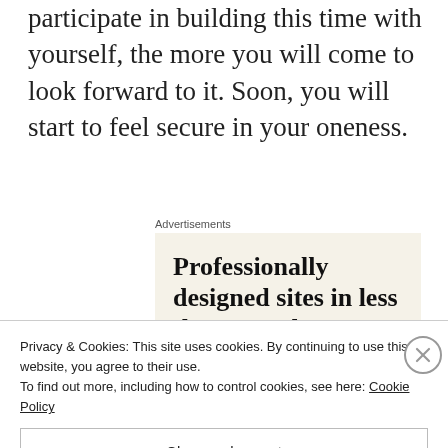participate in building this time with yourself, the more you will come to look forward to it. Soon, you will start to feel secure in your oneness.
Advertisements
[Figure (other): Advertisement box with beige background showing text: Professionally designed sites in less than a week]
Privacy & Cookies: This site uses cookies. By continuing to use this website, you agree to their use.
To find out more, including how to control cookies, see here: Cookie Policy
Close and accept